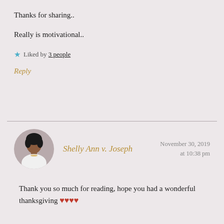Thanks for sharing..
Really is motivational..
★ Liked by 3 people
Reply
[Figure (photo): Circular avatar photo of Shelly Ann v. Joseph, a woman in a white top]
Shelly Ann v. Joseph
November 30, 2019 at 10:38 pm
Thank you so much for reading, hope you had a wonderful thanksgiving ♥♥♥♥